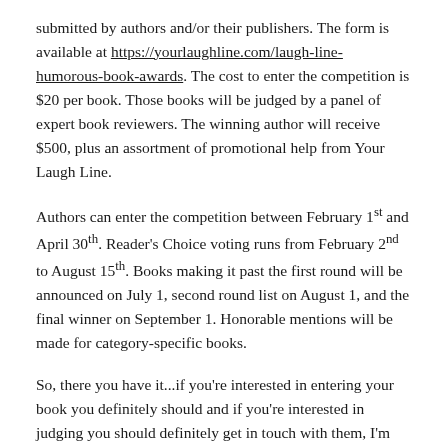submitted by authors and/or their publishers. The form is available at https://yourlaughline.com/laugh-line-humorous-book-awards. The cost to enter the competition is $20 per book. Those books will be judged by a panel of expert book reviewers. The winning author will receive $500, plus an assortment of promotional help from Your Laugh Line.
Authors can enter the competition between February 1st and April 30th. Reader's Choice voting runs from February 2nd to August 15th. Books making it past the first round will be announced on July 1, second round list on August 1, and the final winner on September 1. Honorable mentions will be made for category-specific books.
So, there you have it...if you're interested in entering your book you definitely should and if you're interested in judging you should definitely get in touch with them, I'm sure they would appreciate it!